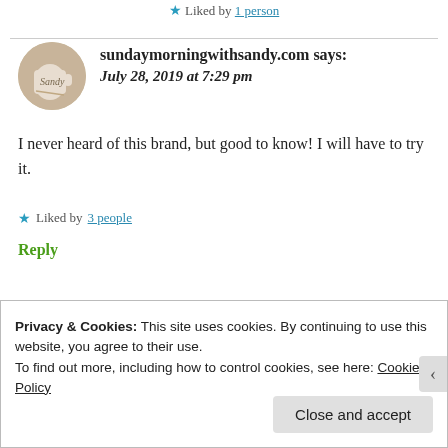★ Liked by 1 person
sundaymorningwithsandy.com says:
July 28, 2019 at 7:29 pm
I never heard of this brand, but good to know! I will have to try it.
★ Liked by 3 people
Reply
Privacy & Cookies: This site uses cookies. By continuing to use this website, you agree to their use.
To find out more, including how to control cookies, see here: Cookie Policy